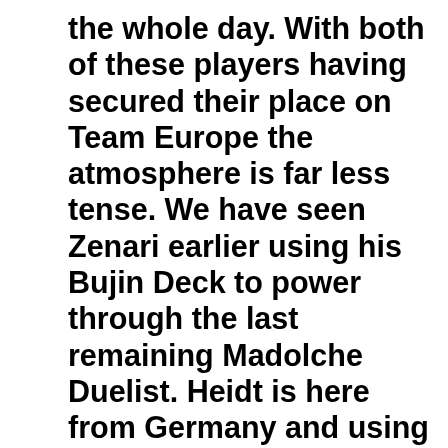the whole day. With both of these players having secured their place on Team Europe the atmosphere is far less tense. We have seen Zenari earlier using his Bujin Deck to power through the last remaining Madolche Duelist. Heidt is here from Germany and using Mermails to destroy all of the competition he has come up against.